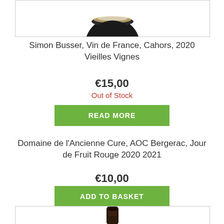[Figure (photo): Top portion of a wine bottle cap/top, partially cut off at top of page, inside a bordered box]
Simon Busser, Vin de France, Cahors, 2020 Vieilles Vignes
€15,00
Out of Stock
READ MORE
Domaine de l'Ancienne Cure, AOC Bergerac, Jour de Fruit Rouge 2020 2021
€10,00
ADD TO BASKET
[Figure (photo): Top portion of a dark wine bottle neck, partially cut off at bottom of page, inside a bordered box]